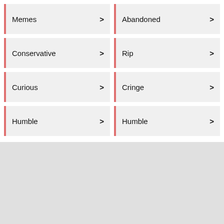Memes >
Abandoned >
Conservative >
Rip >
Curious >
Cringe >
Humble >
Humble >